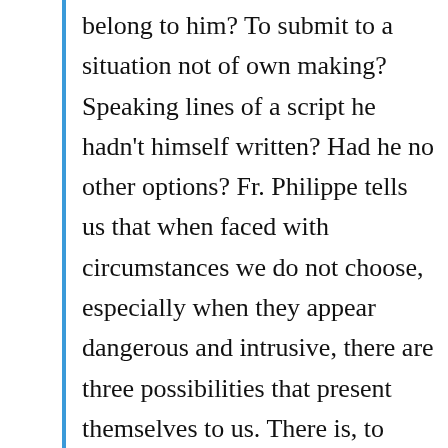belong to him? To submit to a situation not of own making? Speaking lines of a script he hadn't himself written? Had he no other options? Fr. Philippe tells us that when faced with circumstances we do not choose, especially when they appear dangerous and intrusive, there are three possibilities that present themselves to us. There is, to begin with, the option of rebellion, of brazen refusal and revolt in the face of a summons we did not solicit and are loath to welcome. To recoil from